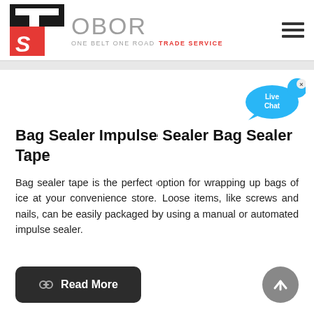[Figure (logo): TS OBOR logo with red and black icon and gray OBOR text. Tagline: ONE BELT ONE ROAD TRADE SERVICE]
Bag Sealer Impulse Sealer Bag Sealer Tape
Bag sealer tape is the perfect option for wrapping up bags of ice at your convenience store. Loose items, like screws and nails, can be easily packaged by using a manual or automated impulse sealer.
[Figure (illustration): Live Chat speech bubble with blue color and X close button]
Read More